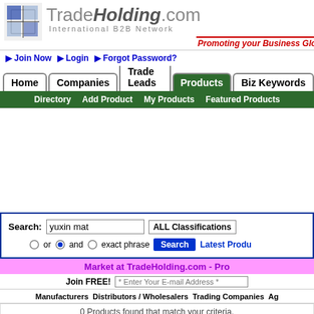TradeHolding.com International B2B Network - Promoting your Business Globally
> Join Now  > Login  > Forgot Password?
Home | Companies | Trade Leads | Products | Biz Keywords
Directory  Add Product  My Products  Featured Products
Search: yuxin mat  ALL Classifications  or  and  exact phrase  Search  Latest Products
Market at TradeHolding.com - Pro
Join FREE!  * Enter Your E-mail Address *
Manufacturers  Distributors / Wholesalers  Trading Companies  Ag
0 Products found that match your criteria. Showing results from 0 to 0. "yuxin" and "mat" Products